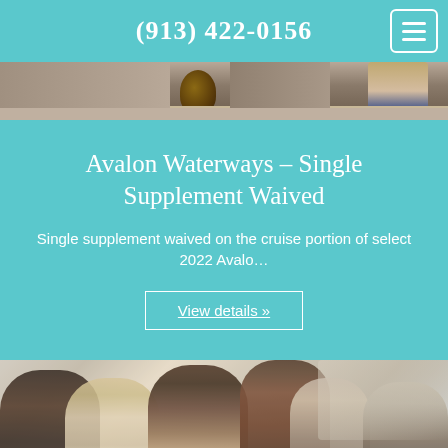(913) 422-0156
[Figure (photo): Outdoor stone courtyard scene with wine barrel and person in background]
Avalon Waterways – Single Supplement Waived
Single supplement waived on the cruise portion of select 2022 Avalo…
View details »
[Figure (photo): Group of people dining outdoors at a restaurant, waitress serving guests]